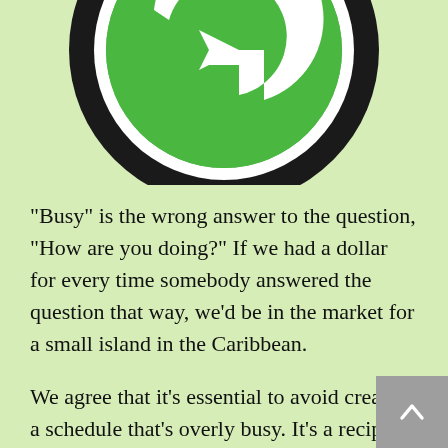[Figure (logo): Large circular logo with black ring and green interior showing a stylized letter G, partially cropped at top]
"Busy" is the wrong answer to the question, "How are you doing?" If we had a dollar for every time somebody answered the question that way, we'd be in the market for a small island in the Caribbean.
We agree that it's essential to avoid creating a schedule that's overly busy. It's a recipe for stress and potentially even burn out. Rich Fernandez advice is spot on, "Be deliberate about building in rest, renewal, and recovery time."